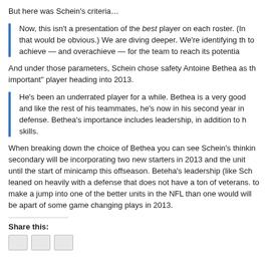But here was Schein's criteria…
Now, this isn't a presentation of the best player on each roster. (In that would be obvious.) We are diving deeper. We're identifying th to achieve — and overachieve — for the team to reach its potentia
And under those parameters, Schein chose safety Antoine Bethea as th important" player heading into 2013.
He's been an underrated player for a while. Bethea is a very good and like the rest of his teammates, he's now in his second year in defense. Bethea's importance includes leadership, in addition to h skills.
When breaking down the choice of Bethea you can see Schein's thinkin secondary will be incorporating two new starters in 2013 and the unit until the start of minicamp this offseason. Beteha's leadership (like Sch leaned on heavily with a defense that does not have a ton of veterans. to make a jump into one of the better units in the NFL than one would will be apart of some game changing plays in 2013.
Share this: